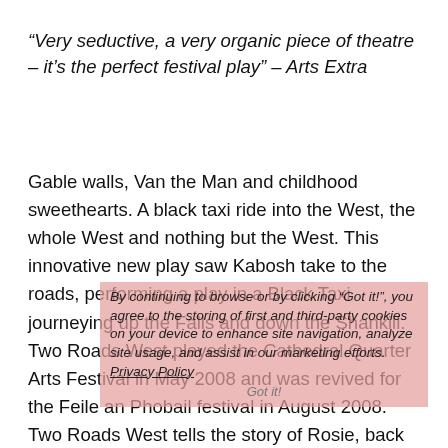“Very seductive, a very organic piece of theatre – it’s the perfect festival play” – Arts Extra
Gable walls, Van the Man and childhood sweethearts. A black taxi ride into the West, the whole West and nothing but the West. This innovative new play saw Kabosh take to the roads, performing a play in a Black Taxi journeying up the Falls and down the Shankill. Two Roads West played the Cathedral Quarter Arts Festival in May 2008 and was revived for the Feile an Phobail festival in August 2008. Two Roads West tells the story of Rosie, back from London after 40 years, looking for her memories of the city that once was. Her guide to the roads is Bill, cynical, world weary, but not without hope. As the journey unfolds a connection is made. Two Roads West